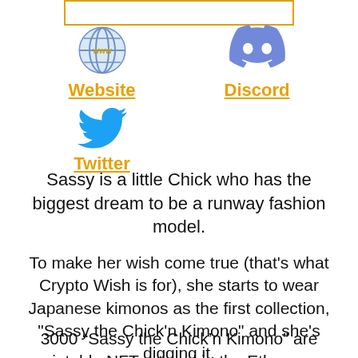[Figure (other): Top bar / banner element with gold border]
[Figure (other): Website link with globe emoji icon and gold underlined label]
[Figure (other): Discord link with Discord logo icon and gold underlined label]
[Figure (other): Twitter link with Twitter bird icon and gold underlined label]
Sassy is a little Chick who has the biggest dream to be a runway fashion model.
To make her wish come true (that's what Crypto Wish is for), she starts to wear Japanese kimonos as the first collection, "Sassy the Chick'n Kimono" and she's digging it.
3000 “Sassy the Chick’n Kimono” are mintable NFTs stored in the Ethereum blockchain. All are generated: base concept NFTs are 1/1 Art for it with dedicated